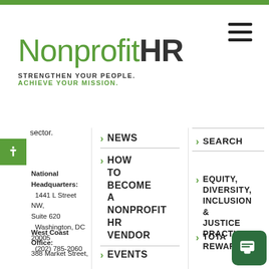[Figure (logo): Nonprofit HR logo with tagline 'Strengthen Your People. Achieve Your Mission.']
sector.
National Headquarters:
1441 L Street NW, Suite 620
Washington, DC 20005
(202) 785-2060
West Coast Office:
388 Market Street,
> NEWS
> HOW TO BECOME A NONPROFIT HR VENDOR
> EVENTS
> SEARCH
> EQUITY, DIVERSITY, INCLUSION & JUSTICE PRACTICE
> TOTAL REWARDS